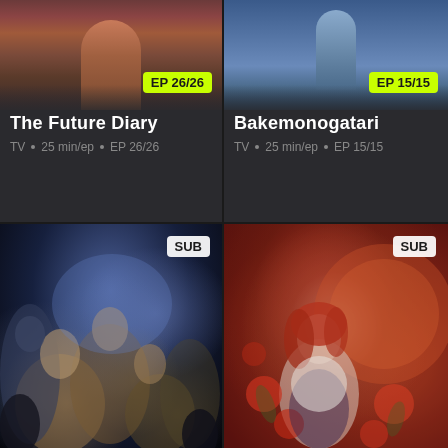[Figure (screenshot): Anime thumbnail card for 'The Future Diary' showing characters, with episode badge EP 26/26 in yellow-green]
The Future Diary
TV • 25 min/ep • EP 26/26
[Figure (screenshot): Anime thumbnail card for 'Bakemonogatari' showing characters, with episode badge EP 15/15 in yellow-green]
Bakemonogatari
TV • 25 min/ep • EP 15/15
[Figure (screenshot): Anime poster art for Attack on Titan showing multiple characters in dramatic composition with SUB badge]
[Figure (screenshot): Anime poster art showing red-haired girl with flowers and red background with SUB badge]